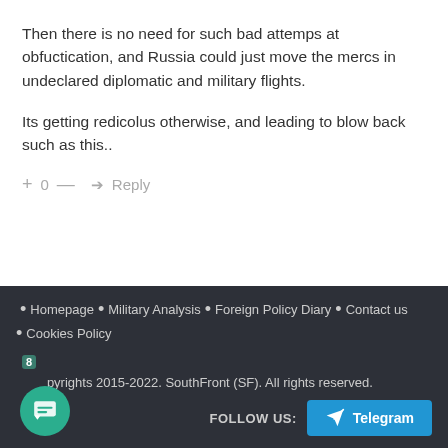Then there is no need for such bad attemps at obfuctication, and Russia could just move the mercs in undeclared diplomatic and military flights.
Its getting redicolus otherwise, and leading to blow back such as this..
+ 0 — ➜ Reply
Homepage · Military Analysis · Foreign Policy Diary · Contact us · Cookies Policy
8
Copyrights 2015-2022. SouthFront (SF). All rights reserved.
FOLLOW US: Telegram